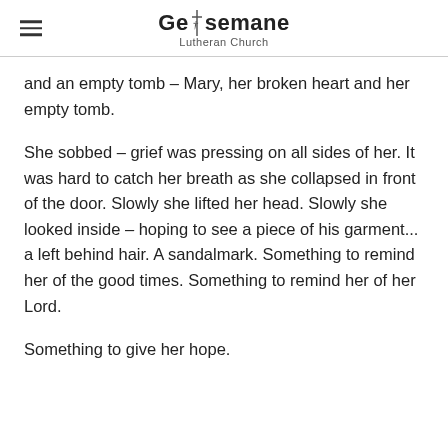Gethsemane Lutheran Church
and an empty tomb – Mary, her broken heart and her empty tomb.
She sobbed – grief was pressing on all sides of her. It was hard to catch her breath as she collapsed in front of the door. Slowly she lifted her head. Slowly she looked inside – hoping to see a piece of his garment... a left behind hair. A sandalmark. Something to remind her of the good times. Something to remind her of her Lord.
Something to give her hope.